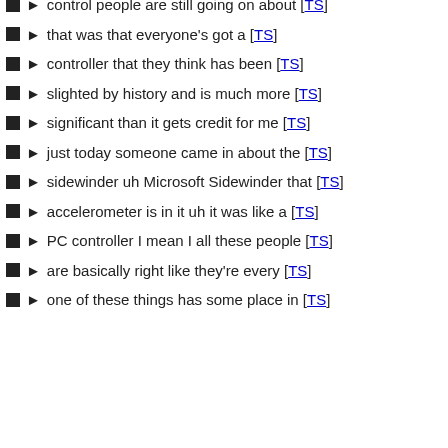control people are still going on about [TS]
that was that everyone's got a [TS]
controller that they think has been [TS]
slighted by history and is much more [TS]
significant than it gets credit for me [TS]
just today someone came in about the [TS]
sidewinder uh Microsoft Sidewinder that [TS]
accelerometer is in it uh it was like a [TS]
PC controller I mean I all these people [TS]
are basically right like they're every [TS]
one of these things has some place in [TS]